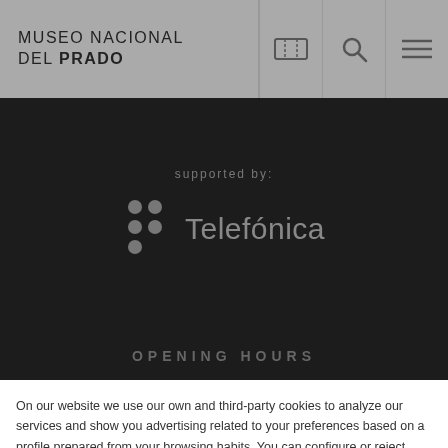MUSEO NACIONAL DEL PRADO
[Figure (logo): Telefónica logo with dot grid and text, on dark background, preceded by 'supported by:' label]
OPENING HOURS
On our website we use our own and third-party cookies to analyze our services and show you advertising related to your preferences based on a profile prepared from your browsing habits. You can configure or reject cookies in the "Cookies settings" button or you can also continue browsing by clicking "Accept all cookies". For more information, you can visit our cookie policy .
Cookies Settings
Accept All Cookies